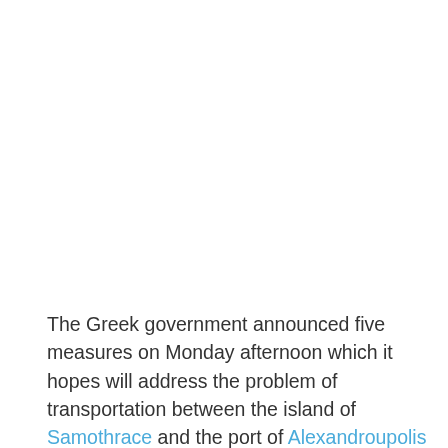The Greek government announced five measures on Monday afternoon which it hopes will address the problem of transportation between the island of Samothrace and the port of Alexandroupolis on the Greek mainland.